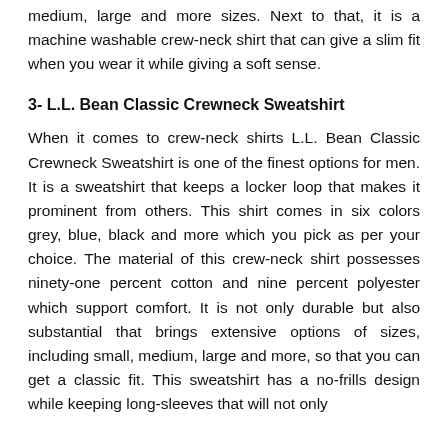medium, large and more sizes. Next to that, it is a machine washable crew-neck shirt that can give a slim fit when you wear it while giving a soft sense.
3- L.L. Bean Classic Crewneck Sweatshirt
When it comes to crew-neck shirts L.L. Bean Classic Crewneck Sweatshirt is one of the finest options for men. It is a sweatshirt that keeps a locker loop that makes it prominent from others. This shirt comes in six colors grey, blue, black and more which you pick as per your choice. The material of this crew-neck shirt possesses ninety-one percent cotton and nine percent polyester which support comfort. It is not only durable but also substantial that brings extensive options of sizes, including small, medium, large and more, so that you can get a classic fit. This sweatshirt has a no-frills design while keeping long-sleeves that will not only